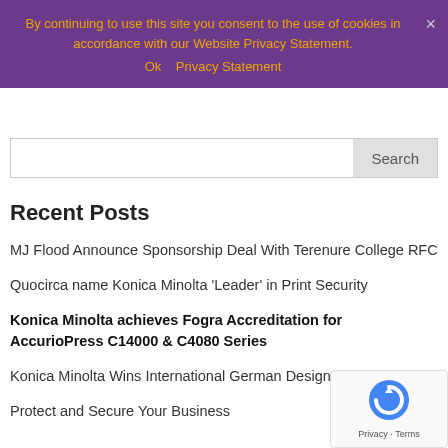By continuing to use this site you consent to the use of cookies in accordance with our Website Privacy Statement.
Ok   Privacy Statement
Search
Recent Posts
MJ Flood Announce Sponsorship Deal With Terenure College RFC
Quocirca name Konica Minolta 'Leader' in Print Security
Konica Minolta achieves Fogra Accreditation for AccurioPress C14000 & C4080 Series
Konica Minolta Wins International German Design Award 2022
Protect and Secure Your Business